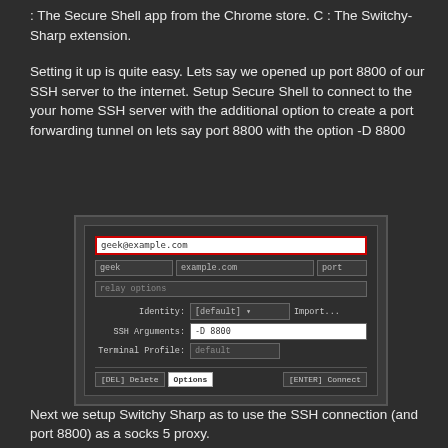: The Secure Shell app from the Chrome store. C : The Switchy-Sharp extension.
Setting it up is quite easy. Lets say we opened up port 8800 of our SSH server to the internet. Setup Secure Shell to connect to the your home SSH server with the additional option to create a port forwarding tunnel on lets say port 8800 with the option -D 8800
[Figure (screenshot): Screenshot of Secure Shell SSH connection dialog. Shows fields: geek@example.com (highlighted in red border), geek, example.com, port, relay options, Identity: [default] with Import..., SSH Arguments: -D 8800, Terminal Profile: default. Bottom bar has [DEL] Delete, Options buttons on left and [ENTER] Connect on right.]
Next we setup Switchy Sharp as to use the SSH connection (and port 8800) as a socks 5 proxy.